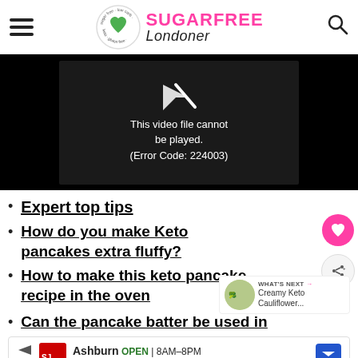SUGAR FREE Londoner
[Figure (screenshot): Video player showing error: This video file cannot be played. (Error Code: 224003)]
Expert top tips
How do you make Keto pancakes extra fluffy?
How to make this keto pancake recipe in the oven
Can the pancake batter be used in
WHAT'S NEXT → Creamy Keto Cauliflower...
Ashburn OPEN | 8AM–8PM 20035 Ashbrook Commons Plaza, Unit